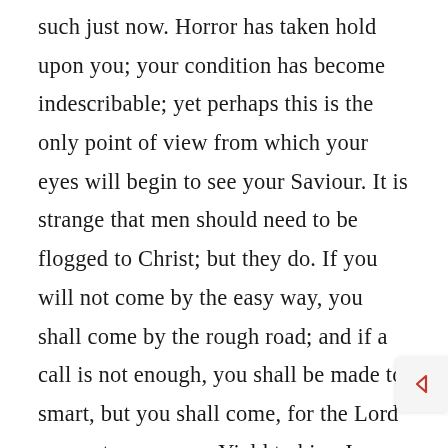such just now. Horror has taken hold upon you; your condition has become indescribable; yet perhaps this is the only point of view from which your eyes will begin to see your Saviour. It is strange that men should need to be flogged to Christ; but they do. If you will not come by the easy way, you shall come by the rough road; and if a call is not enough, you shall be made to smart, but you shall come, for the Lord means to save you. Yield to him, I pray you; you have the hook in your jaws now, and the more you pull, the more that